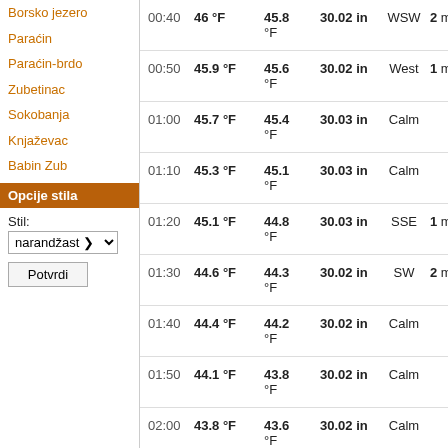Borsko jezero
Paraćin
Paraćin-brdo
Zubetinac
Sokobanja
Knjaževac
Babin Zub
Opcije stila
Stil:
narandžast
Potvrdi
| Time | Temp | Dew Point | Pressure | Wind Dir | Wind Speed | Gust |
| --- | --- | --- | --- | --- | --- | --- |
| 00:40 | 46 °F | 45.8 °F | 30.02 in | WSW | 2 mph | 5 mph |
| 00:50 | 45.9 °F | 45.6 °F | 30.02 in | West | 1 mph | 4 mph |
| 01:00 | 45.7 °F | 45.4 °F | 30.03 in | Calm |  | 3 mph |
| 01:10 | 45.3 °F | 45.1 °F | 30.03 in | Calm |  | 1 mph |
| 01:20 | 45.1 °F | 44.8 °F | 30.03 in | SSE | 1 mph | 3 mph |
| 01:30 | 44.6 °F | 44.3 °F | 30.02 in | SW | 2 mph | 3 mph |
| 01:40 | 44.4 °F | 44.2 °F | 30.02 in | Calm |  | 2 mph |
| 01:50 | 44.1 °F | 43.8 °F | 30.02 in | Calm |  | 2 mph |
| 02:00 | 43.8 °F | 43.6 °F | 30.02 in | Calm |  | 2 mph |